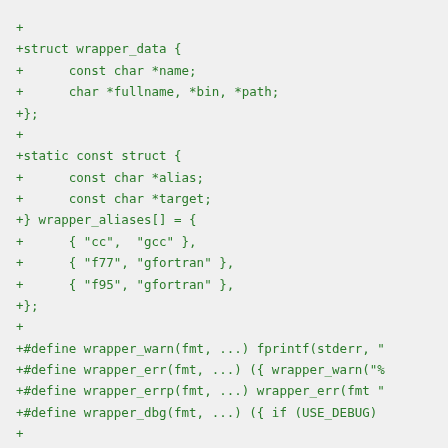+
+struct wrapper_data {
+      const char *name;
+      char *fullname, *bin, *path;
+};
+
+static const struct {
+      const char *alias;
+      const char *target;
+} wrapper_aliases[] = {
+      { "cc",  "gcc" },
+      { "f77", "gfortran" },
+      { "f95", "gfortran" },
+};
+
+#define wrapper_warn(fmt, ...) fprintf(stderr, "
+#define wrapper_err(fmt, ...) ({ wrapper_warn("%
+#define wrapper_errp(fmt, ...) wrapper_err(fmt "
+#define wrapper_dbg(fmt, ...) ({ if (USE_DEBUG)
+
++#define xmemwrap(func, proto, use) \